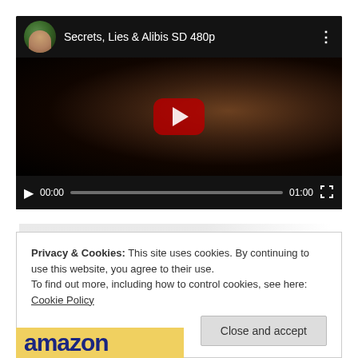[Figure (screenshot): YouTube-style embedded video player showing 'Secrets, Lies & Alibis SD 480p' with a dark thumbnail of a woman's face, red play button, video controls bar with play button, timecodes 00:00 and 01:00, and progress bar]
Privacy & Cookies: This site uses cookies. By continuing to use this website, you agree to their use.
To find out more, including how to control cookies, see here: Cookie Policy
[Figure (logo): Amazon logo text in dark blue bold font on yellow/gold background]